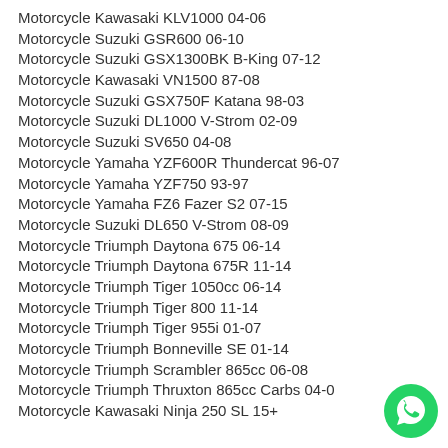Motorcycle Kawasaki KLV1000 04-06
Motorcycle Suzuki GSR600 06-10
Motorcycle Suzuki GSX1300BK B-King 07-12
Motorcycle Kawasaki VN1500 87-08
Motorcycle Suzuki GSX750F Katana 98-03
Motorcycle Suzuki DL1000 V-Strom 02-09
Motorcycle Suzuki SV650 04-08
Motorcycle Yamaha YZF600R Thundercat 96-07
Motorcycle Yamaha YZF750 93-97
Motorcycle Yamaha FZ6 Fazer S2 07-15
Motorcycle Suzuki DL650 V-Strom 08-09
Motorcycle Triumph Daytona 675 06-14
Motorcycle Triumph Daytona 675R 11-14
Motorcycle Triumph Tiger 1050cc 06-14
Motorcycle Triumph Tiger 800 11-14
Motorcycle Triumph Tiger 955i 01-07
Motorcycle Triumph Bonneville SE 01-14
Motorcycle Triumph Scrambler 865cc 06-08
Motorcycle Triumph Thruxton 865cc Carbs 04-0
Motorcycle Kawasaki Ninja 250 SL 15+
[Figure (logo): WhatsApp green phone icon]